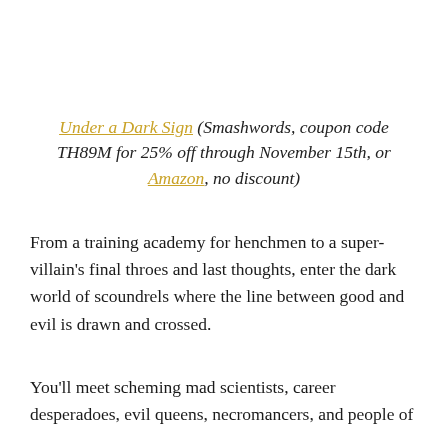Under a Dark Sign (Smashwords, coupon code TH89M for 25% off through November 15th, or Amazon, no discount)
From a training academy for henchmen to a super-villain's final throes and last thoughts, enter the dark world of scoundrels where the line between good and evil is drawn and crossed.
You'll meet scheming mad scientists, career desperadoes, evil queens, necromancers, and people of